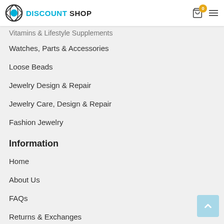DISCOUNT SHOP
Vitamins & Lifestyle Supplements
Watches, Parts & Accessories
Loose Beads
Jewelry Design & Repair
Jewelry Care, Design & Repair
Fashion Jewelry
Information
Home
About Us
FAQs
Returns & Exchanges
Shipping & Returns